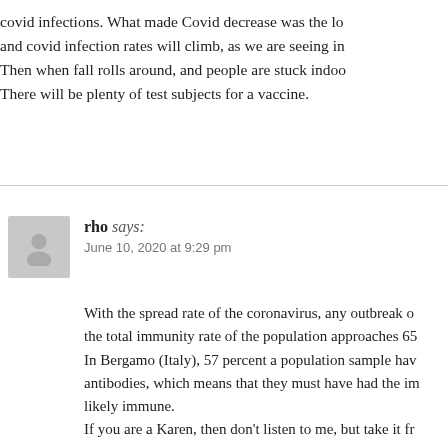covid infections. What made Covid decrease was the lo and covid infection rates will climb, as we are seeing in Then when fall rolls around, and people are stuck indoo There will be plenty of test subjects for a vaccine.
rho says:
June 10, 2020 at 9:29 pm
With the spread rate of the coronavirus, any outbreak o the total immunity rate of the population approaches 65 In Bergamo (Italy), 57 percent a population sample hav antibodies, which means that they must have had the im likely immune.
If you are a Karen, then don't listen to me, but take it fr own propaganda outlet, Deutsche Welle:
"Out of nearly 10,000 Bergamo residents who had thei June 3, 57% had antibodies, indicating they had come i developed an immune response.